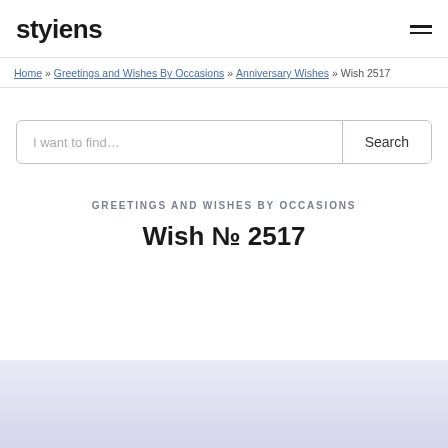styiens
Home » Greetings and Wishes By Occasions » Anniversary Wishes » Wish 2517
I want to find... Search
GREETINGS AND WISHES BY OCCASIONS
Wish № 2517